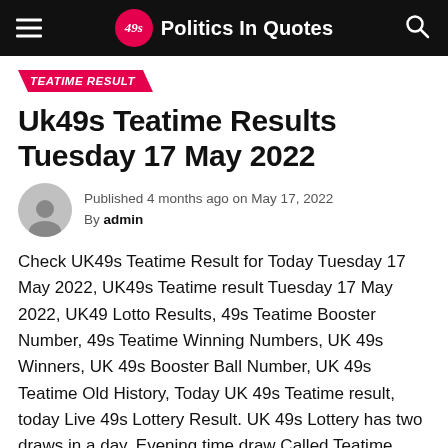49s Politics In Quotes
TEATIME RESULT
Uk49s Teatime Results Tuesday 17 May 2022
Published 4 months ago on May 17, 2022
By admin
Check UK49s Teatime Result for Today Tuesday 17 May 2022, UK49s Teatime result Tuesday 17 May 2022, UK49 Lotto Results, 49s Teatime Booster Number, 49s Teatime Winning Numbers, UK 49s Winners, UK 49s Booster Ball Number, UK 49s Teatime Old History, Today UK 49s Teatime result, today Live 49s Lottery Result. UK 49s Lottery has two draws in a day. Evening time draw Called Teatime Results.